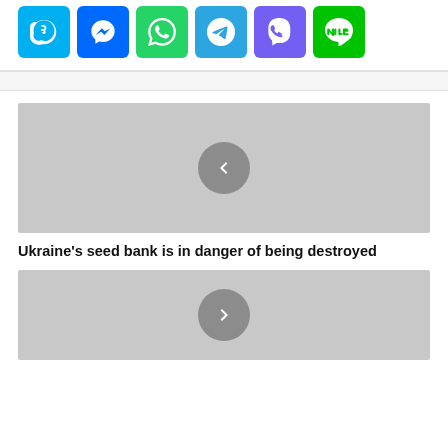[Figure (infographic): Row of colored social media share button icons: Skype (light blue), Messenger (blue), WhatsApp (green), Telegram (blue), Viber (purple), Line (green)]
[Figure (photo): Gray placeholder image with a left-arrow navigation circle button in the center, for an article carousel]
Ukraine's seed bank is in danger of being destroyed
[Figure (photo): Gray placeholder image with a right-arrow navigation circle button partially visible, for another article carousel]